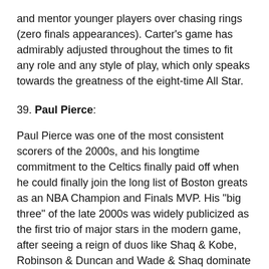and mentor younger players over chasing rings (zero finals appearances). Carter's game has admirably adjusted throughout the times to fit any role and any style of play, which only speaks towards the greatness of the eight-time All Star.
39. Paul Pierce:
Paul Pierce was one of the most consistent scorers of the 2000s, and his longtime commitment to the Celtics finally paid off when he could finally join the long list of Boston greats as an NBA Champion and Finals MVP. His "big three" of the late 2000s was widely publicized as the first trio of major stars in the modern game, after seeing a reign of duos like Shaq & Kobe, Robinson & Duncan and Wade & Shaq dominate the earlier part of the decade.
Despite leading that team on the offensive side, Pierce didn't do enough throughout the entirety of his career to